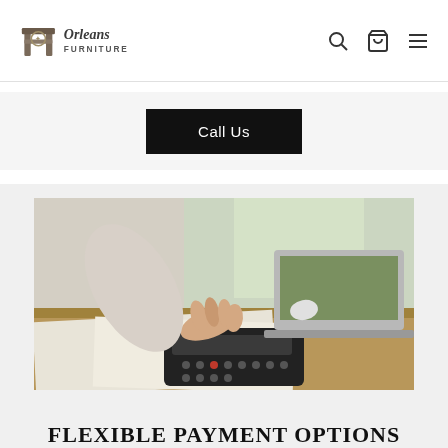Orleans Furniture
Call Us
[Figure (photo): Person using a calculator on a desk with documents and a laptop in the background, warm indoor lighting]
FLEXIBLE PAYMENT OPTIONS